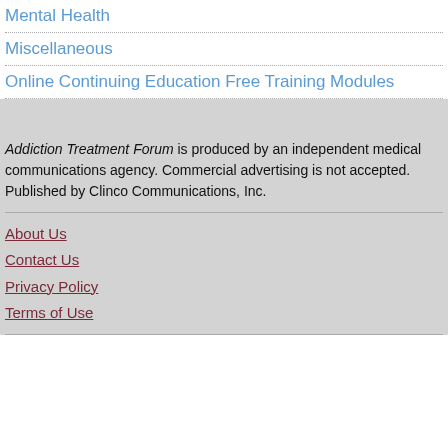Mental Health
Miscellaneous
Online Continuing Education Free Training Modules
Addiction Treatment Forum is produced by an independent medical communications agency. Commercial advertising is not accepted. Published by Clinco Communications, Inc.
About Us
Contact Us
Privacy Policy
Terms of Use